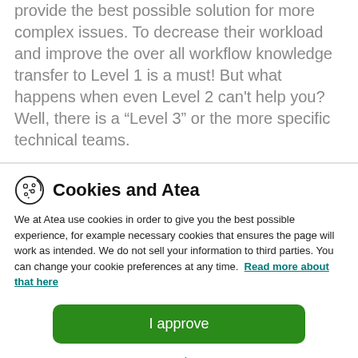provide the best possible solution for more complex issues. To decrease their workload and improve the over all workflow knowledge transfer to Level 1 is a must! But what happens when even Level 2 can't help you? Well, there is a “Level 3” or the more specific technical teams.
Cookies and Atea
We at Atea use cookies in order to give you the best possible experience, for example necessary cookies that ensures the page will work as intended. We do not sell your information to third parties. You can change your cookie preferences at any time. Read more about that here
I approve
Your privacy settings